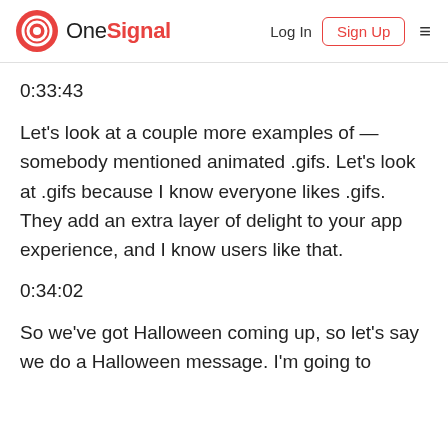OneSignal  Log In  Sign Up
0:33:43
Let's look at a couple more examples of — somebody mentioned animated .gifs. Let's look at .gifs because I know everyone likes .gifs. They add an extra layer of delight to your app experience, and I know users like that.
0:34:02
So we've got Halloween coming up, so let's say we do a Halloween message. I'm going to